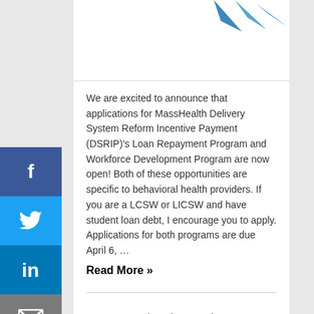[Figure (logo): Partial logo with blue bird/arrow shapes at top of content card]
We are excited to announce that applications for MassHealth Delivery System Reform Incentive Payment (DSRIP)'s Loan Repayment Program and Workforce Development Program are now open! Both of these opportunities are specific to behavioral health providers. If you are a LCSW or LICSW and have student loan debt, I encourage you to apply. Applications for both programs are due April 6, …
Read More »
New study shows large number of children exposed to alcohol